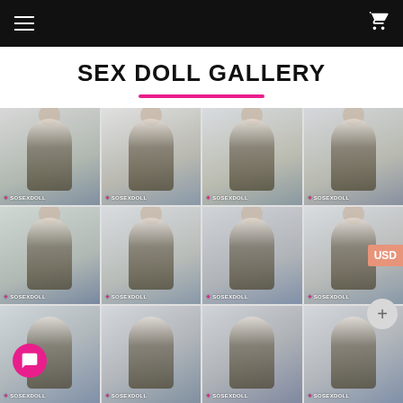SEX DOLL GALLERY — Navigation bar with menu and cart icons
SEX DOLL GALLERY
[Figure (photo): 4x3 grid of product photos showing a realistic humanoid doll wearing white blouse and dark green mini skirt in an office setting, with SOSEXDOLL watermark on each image. A USD currency badge and a plus button appear on the right side. A pink chat bubble appears at bottom left.]